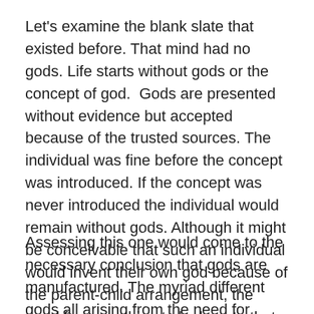Let's examine the blank slate that existed before. That mind had no gods. Life starts without gods or the concept of god.  Gods are presented without evidence but accepted because of the trusted sources. The individual was fine before the concept was introduced. If the concept was never introduced the individual would remain without gods. Although it might be conceivable that such an individual would invent their own god because of the parent-child arrangement, the need for something to look up to that is powerful and protecting, that possibility is not assured.
Assessing this one would come to the necessary conclusion that gods are manufactured. The myriad different gods all arising from the need for something to look up to as protector and provider, combined with the